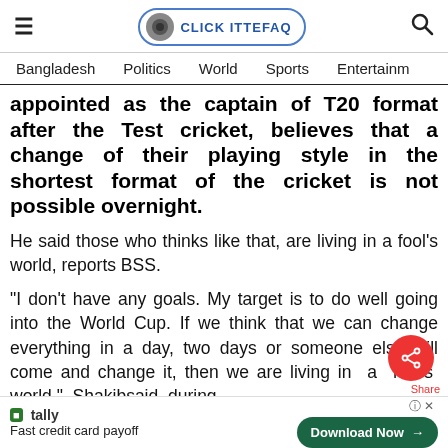≡  CLICK ITTEFAQ  🔍
Bangladesh   Politics   World   Sports   Entertainm
appointed as the captain of T20 format after the Test cricket, believes that a change of their playing style in the shortest format of the cricket is not possible overnight.
He said those who thinks like that, are living in a fool's world, reports BSS.
"I don't have any goals. My target is to do well going into the World Cup. If we think that we can change everything in a day, two days or someone else will come and change it, then we are living in a fool's world," Shakibsaid during